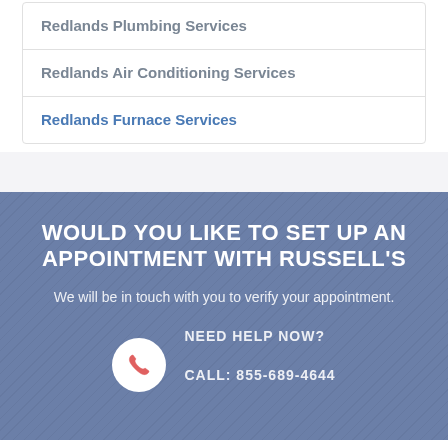Redlands Plumbing Services
Redlands Air Conditioning Services
Redlands Furnace Services
WOULD YOU LIKE TO SET UP AN APPOINTMENT WITH RUSSELL'S
We will be in touch with you to verify your appointment.
NEED HELP NOW?
CALL: 855-689-4644